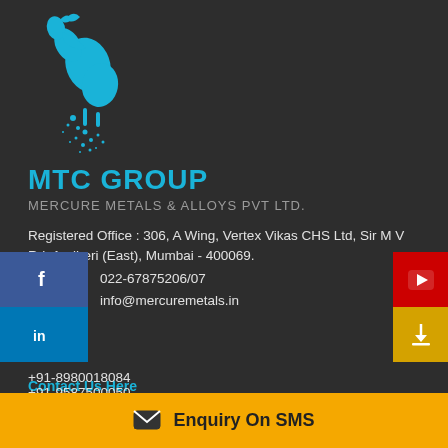[Figure (logo): MTC Group horse logo in cyan/blue color on dark background]
MTC GROUP
MERCURE METALS & ALLOYS PVT LTD.
Registered Office : 306, A Wing, Vertex Vikas CHS Ltd, Sir M V Rd, Andheri (East), Mumbai - 400069.
022-67875206/07
info@mercuremetals.in
Contact Us Here
FACTORY ADDRESS
Survey No. 45/1 & 45/2, TIMBHI VILLAGE, UMERGAON, DIST: VALSAD, GUJARAT, INDIA.
+91-8980018084
Enquiry On SMS